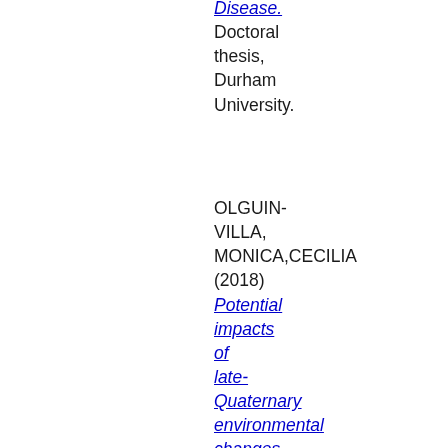Disease. Doctoral thesis, Durham University.
OLGUIN-VILLA, MONICA,CECILIA (2018) Potential impacts of late-Quaternary environmental changes - from the Last Glacial Maximum...